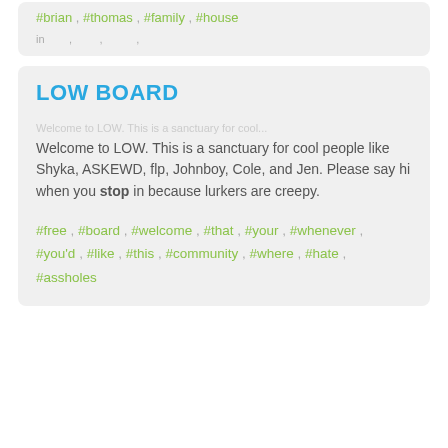#brian , #thomas , #family , #house
LOW BOARD
Welcome to LOW. This is a sanctuary for cool people like Shyka, ASKEWD, flp, Johnboy, Cole, and Jen. Please say hi when you stop in because lurkers are creepy.
#free , #board , #welcome , #that , #your , #whenever , #you'd , #like , #this , #community , #where , #hate , #assholes